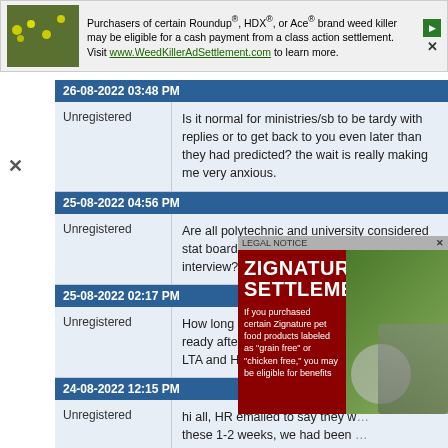[Figure (screenshot): Advertisement banner for weed killer class action settlement. Text: 'Purchasers of certain Roundup®, HDX®, or Ace® brand weed killer may be eligible for a cash payment from a class action settlement. Visit www.WeedKillerAdSettlement.com to learn more.' Green background image with yellow flowers.]
26-08-2022 03:48 PM
Unregistered	Is it normal for ministries/sb to be tardy with replies or to get back to you even later than they had predicted? the wait is really making me very anxious.
25-08-2022 04:56 PM
Unregistered	Are all polytechnic and university considered stat board? How long do they process after interview?
25-08-2022 02:17 PM
Unregistered	How long does it take for the contract to be ready after you accepted the verbal offer? LTA and HTX, fresh grad
24-08-2022 12:15 PM
Unregistered	hi all, HR emailed to say they w... these 1-2 weeks, we had been ... over a call last week. Is it a goo... the job or is there a possibility t... the offer? this is my first civil se... I appreciate the advice!
[Figure (screenshot): Popup advertisement for Zignature pet food settlement. Dark red background with text 'LEGAL NOTICE ZIGNATURE SETTLEMENT'. Text: 'If you purchased certain Zignature pet food products labeled as "grain free" or "chicken free," you may be eligible for benefits'. Image of a dog with a bowl.]
23-08-2022 10:47 PM
Luren	Quote: